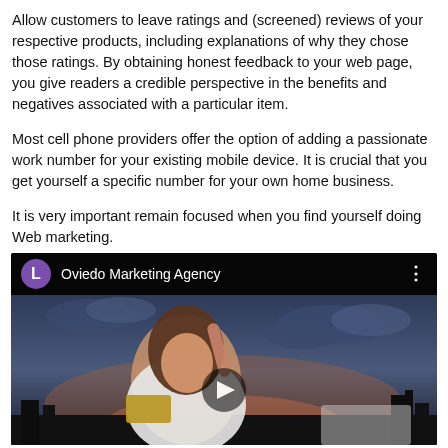Allow customers to leave ratings and (screened) reviews of your respective products, including explanations of why they chose those ratings. By obtaining honest feedback to your web page, you give readers a credible perspective in the benefits and negatives associated with a particular item.
Most cell phone providers offer the option of adding a passionate work number for your existing mobile device. It is crucial that you get yourself a specific number for your own home business.
It is very important remain focused when you find yourself doing Web marketing.
[Figure (screenshot): Embedded YouTube-style video player with a purple avatar circle showing 'L', channel name 'Oviedo Marketing Agency', a three-dot menu icon, and a video thumbnail showing a woman holding a credit card pointing upward with a dramatic sky background and a play button overlay.]